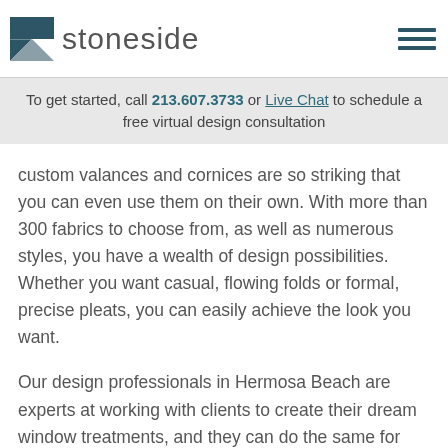stoneside
To get started, call 213.607.3733 or Live Chat to schedule a free virtual design consultation
custom valances and cornices are so striking that you can even use them on their own. With more than 300 fabrics to choose from, as well as numerous styles, you have a wealth of design possibilities. Whether you want casual, flowing folds or formal, precise pleats, you can easily achieve the look you want.
Our design professionals in Hermosa Beach are experts at working with clients to create their dream window treatments, and they can do the same for you. During a free consultation, our designer walks you through the process of selecting the right window coverings and valances to suit your taste and fit your budget. You can also get fabric samples to see what your finished valances will look like in